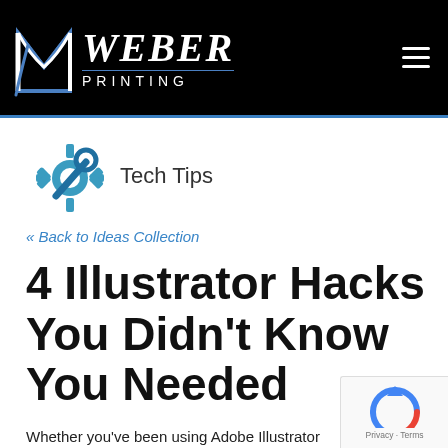[Figure (logo): Weber Printing company logo with stylized W and M on black background header]
[Figure (illustration): Gear/wrench Tech Tips icon in blue teal color]
Tech Tips
« Back to Ideas Collection
4 Illustrator Hacks You Didn't Know You Needed
Whether you've been using Adobe Illustrator for years or are just